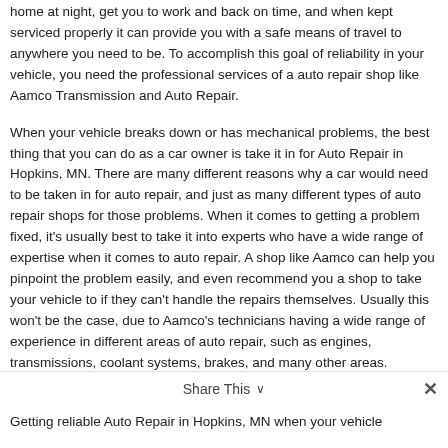home at night, get you to work and back on time, and when kept serviced properly it can provide you with a safe means of travel to anywhere you need to be. To accomplish this goal of reliability in your vehicle, you need the professional services of a auto repair shop like Aamco Transmission and Auto Repair.
When your vehicle breaks down or has mechanical problems, the best thing that you can do as a car owner is take it in for Auto Repair in Hopkins, MN. There are many different reasons why a car would need to be taken in for auto repair, and just as many different types of auto repair shops for those problems. When it comes to getting a problem fixed, it's usually best to take it into experts who have a wide range of expertise when it comes to auto repair. A shop like Aamco can help you pinpoint the problem easily, and even recommend you a shop to take your vehicle to if they can't handle the repairs themselves. Usually this won't be the case, due to Aamco's technicians having a wide range of experience in different areas of auto repair, such as engines, transmissions, coolant systems, brakes, and many other areas.
Share This ∨  ✕
Getting reliable Auto Repair in Hopkins, MN when your vehicle